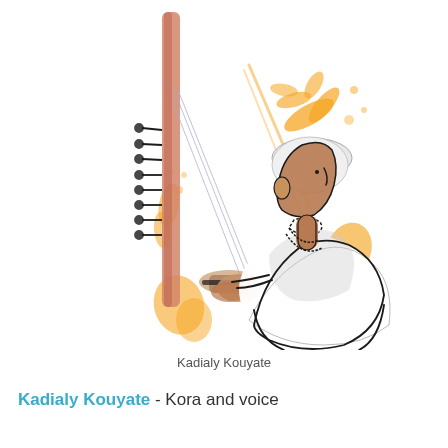[Figure (illustration): Watercolor and ink sketch illustration of Kadialy Kouyate, a musician playing the Kora (a West African harp-lute). The figure is shown in profile facing left, wearing a white garment and a cap. The tall instrument neck with tuning pegs is prominent on the left side. The background features expressive splashes and strokes of orange and salmon/pink watercolor. The figure's hands grip the instrument's bridge.]
Kadialy Kouyate
Kadialy Kouyate - Kora and voice